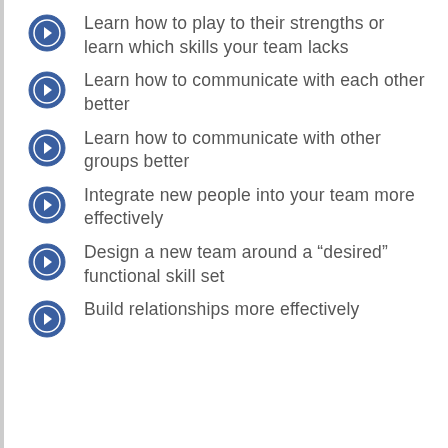Learn how to play to their strengths or learn which skills your team lacks
Learn how to communicate with each other better
Learn how to communicate with other groups better
Integrate new people into your team more effectively
Design a new team around a “desired” functional skill set
Build relationships more effectively